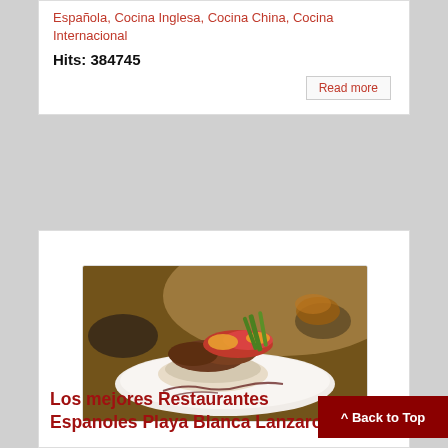Española, Cocina Inglesa, Cocina China, Cocina Internacional
Hits: 384745
Read more
[Figure (photo): A gourmet plated dish featuring seared meat topped with colorful vegetables including tomatoes, asparagus, and other garnishes, served on a white plate with sauce drizzle, restaurant setting]
Los mejores Restaurantes Espanoles Playa Blanca Lanzarote
^ Back to Top